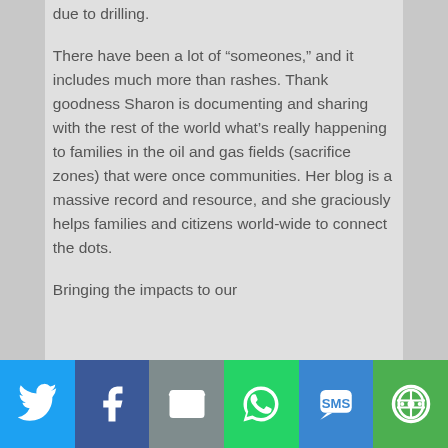due to drilling.
There have been a lot of “someones,” and it includes much more than rashes. Thank goodness Sharon is documenting and sharing with the rest of the world what’s really happening to families in the oil and gas fields (sacrifice zones) that were once communities. Her blog is a massive record and resource, and she graciously helps families and citizens world-wide to connect the dots.
Bringing the impacts to our